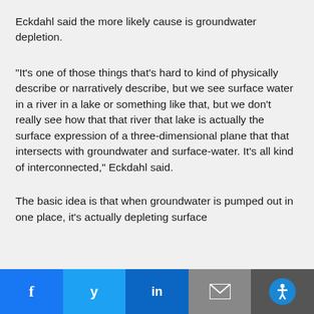Eckdahl said the more likely cause is groundwater depletion.
“It’s one of those things that’s hard to kind of physically describe or narratively describe, but we see surface water in a river in a lake or something like that, but we don’t really see how that that river that lake is actually the surface expression of a three-dimensional plane that that intersects with groundwater and surface-water. It’s all kind of interconnected,” Eckdahl said.
The basic idea is that when groundwater is pumped out in one place, it’s actually depleting surface...
f  y  in  ✉  accessibility